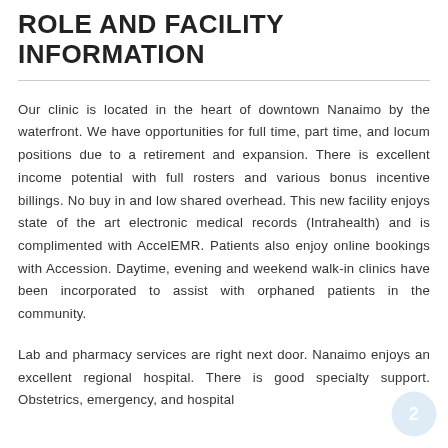ROLE AND FACILITY INFORMATION
Our clinic is located in the heart of downtown Nanaimo by the waterfront. We have opportunities for full time, part time, and locum positions due to a retirement and expansion. There is excellent income potential with full rosters and various bonus incentive billings. No buy in and low shared overhead. This new facility enjoys state of the art electronic medical records (Intrahealth) and is complimented with AccelEMR. Patients also enjoy online bookings with Accession. Daytime, evening and weekend walk-in clinics have been incorporated to assist with orphaned patients in the community.
Lab and pharmacy services are right next door. Nanaimo enjoys an excellent regional hospital. There is good specialty support. Obstetrics, emergency, and hospital privilege are conventional. Nanaimo excellent large strong staff...